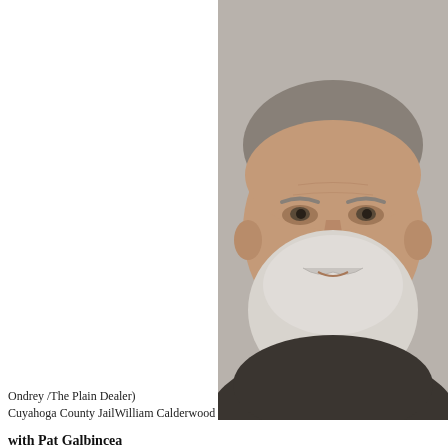[Figure (photo): Mugshot or close-up portrait of William Calderwood, an older white man with gray-white beard, taken at Cuyahoga County Jail]
Ondrey /The Plain Dealer)
Cuyahoga County JailWilliam Calderwood
with Pat Galbincea
CLEVELAND, Ohio -- William Calderwood wore ma... West 83rd Street.
He portrayed himself as a real-estate investor. The t... beard was available to appear at parties as Santa C... busybody who was always in his neighbors' business.
Now Calderwood is behind bars, charged with aggra... he blew up the house next to his on West 83rd Stree... 57 homes, including two owned by Calderwood, left injured three people.